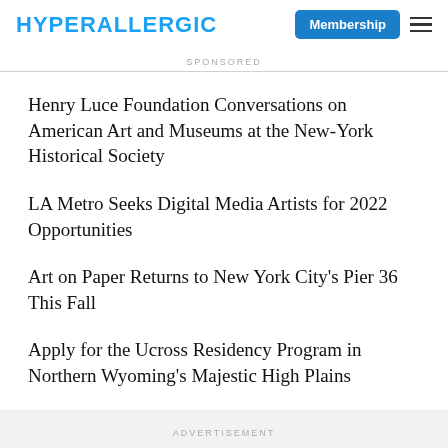HYPERALLERGIC
SPONSORED
Henry Luce Foundation Conversations on American Art and Museums at the New-York Historical Society
LA Metro Seeks Digital Media Artists for 2022 Opportunities
Art on Paper Returns to New York City's Pier 36 This Fall
Apply for the Ucross Residency Program in Northern Wyoming's Majestic High Plains
ADVERTISEMENT